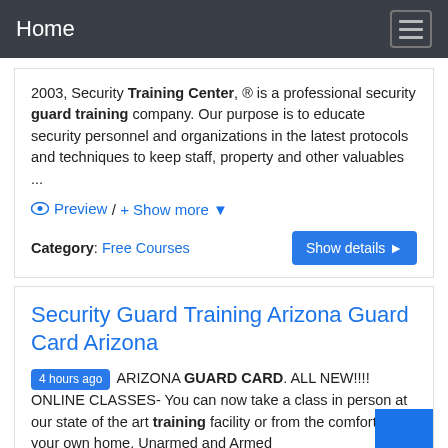Home
2003, Security Training Center, ® is a professional security guard training company. Our purpose is to educate security personnel and organizations in the latest protocols and techniques to keep staff, property and other valuables ...
👁 Preview / + Show more ▼
Category: Free Courses
Security Guard Training Arizona Guard Card Arizona
4 hours ago ARIZONA GUARD CARD. ALL NEW!!!! ONLINE CLASSES- You can now take a class in person at our state of the art training facility or from the comfort of your own home. Unarmed and Armed